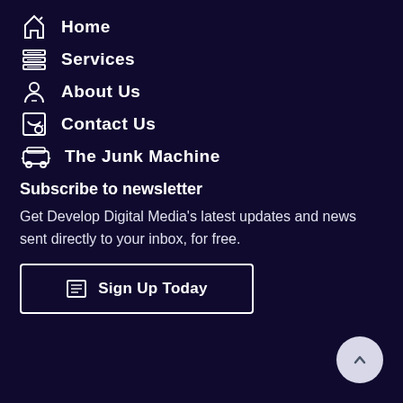Home
Services
About Us
Contact Us
The Junk Machine
Subscribe to newsletter
Get Develop Digital Media's latest updates and news sent directly to your inbox, for free.
Sign Up Today